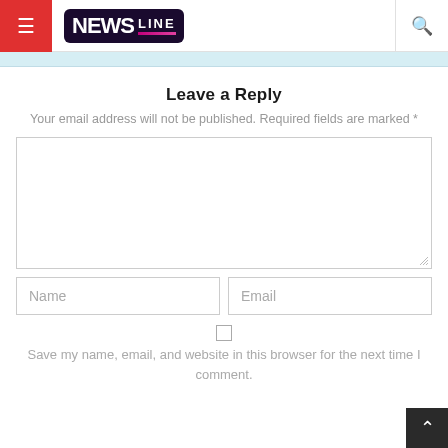NEWS LINE
Leave a Reply
Your email address will not be published. Required fields are marked *
[Figure (screenshot): Comment textarea input field]
[Figure (screenshot): Name and Email input fields side by side]
[Figure (screenshot): Checkbox for saving browser info]
Save my name, email, and website in this browser for the next time I comment.